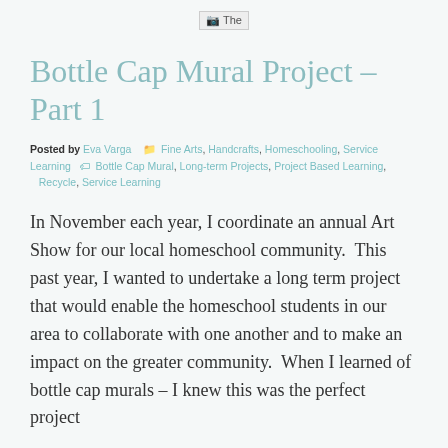[Figure (logo): Broken image placeholder showing 'The' text, centered at top of page]
Bottle Cap Mural Project – Part 1
Posted by Eva Varga  Fine Arts, Handcrafts, Homeschooling, Service Learning  Bottle Cap Mural, Long-term Projects, Project Based Learning, Recycle, Service Learning
In November each year, I coordinate an annual Art Show for our local homeschool community.  This past year, I wanted to undertake a long term project that would enable the homeschool students in our area to collaborate with one another and to make an impact on the greater community.  When I learned of bottle cap murals – I knew this was the perfect project